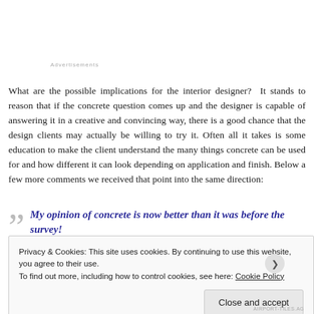Advertisements
What are the possible implications for the interior designer?  It stands to reason that if the concrete question comes up and the designer is capable of answering it in a creative and convincing way, there is a good chance that the design clients may actually be willing to try it. Often all it takes is some education to make the client understand the many things concrete can be used for and how different it can look depending on application and finish. Below a few more comments we received that point into the same direction:
My opinion of concrete is now better than it was before the survey!
Privacy & Cookies: This site uses cookies. By continuing to use this website, you agree to their use.
To find out more, including how to control cookies, see here: Cookie Policy
Close and accept
AIRPORT-TILES.AG